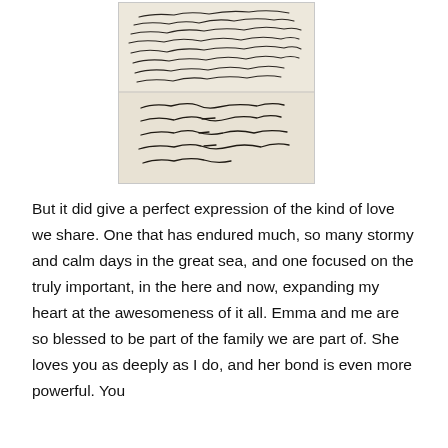[Figure (photo): Two panels of historical handwritten cursive text on aged paper, shown as photographs. Top panel shows several lines of old cursive script. Bottom panel shows additional lines of old cursive handwriting with dashes and flourishes.]
But it did give a perfect expression of the kind of love we share. One that has endured much, so many stormy and calm days in the great sea, and one focused on the truly important, in the here and now, expanding my heart at the awesomeness of it all. Emma and me are so blessed to be part of the family we are part of. She loves you as deeply as I do, and her bond is even more powerful. You